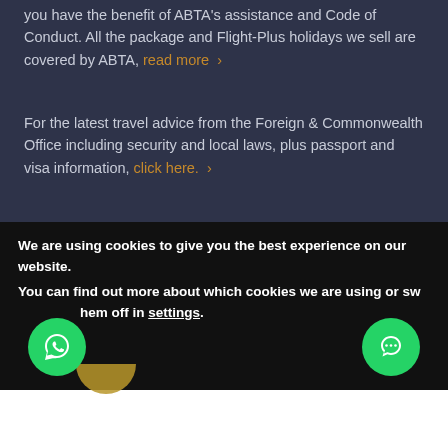you have the benefit of ABTA's assistance and Code of Conduct. All the package and Flight-Plus holidays we sell are covered by ABTA, read more >
For the latest travel advice from the Foreign & Commonwealth Office including security and local laws, plus passport and visa information, click here. >
MAIN MENU
> Home
> Safaris
We are using cookies to give you the best experience on our website.
You can find out more about which cookies we are using or switch them off in settings.